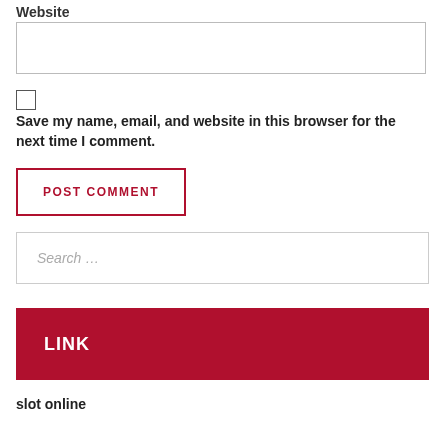Website
[Figure (screenshot): Empty text input field for Website URL]
Save my name, email, and website in this browser for the next time I comment.
[Figure (screenshot): POST COMMENT button with red border on white background]
[Figure (screenshot): Search input field with placeholder text 'Search ...']
LINK
slot online